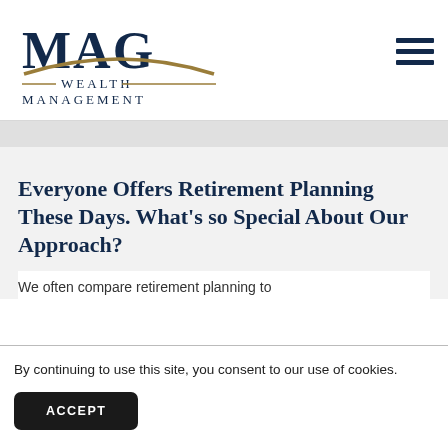[Figure (logo): MAG Wealth Management logo with gold arc above text]
Everyone Offers Retirement Planning These Days. What’s so Special About Our Approach?
We often compare retirement planning to
By continuing to use this site, you consent to our use of cookies.
ACCEPT